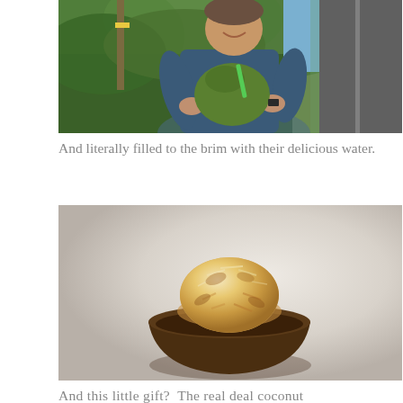[Figure (photo): A man smiling and holding a large green coconut with a green straw, standing outdoors on a road with lush green vegetation in the background.]
And literally filled to the brim with their delicious water.
[Figure (photo): A golden-brown coconut macaroon sitting in a dark wooden bowl, photographed close-up against a soft blurred grey-white background.]
And this little gift?  The real deal coconut